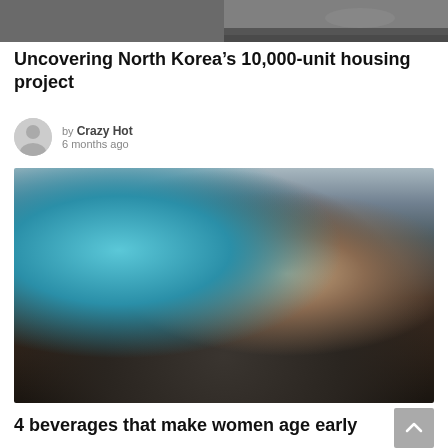[Figure (photo): Partial view of people in a meeting or conference setting, cropped at top of page]
Uncovering North Korea’s 10,000-unit housing project
by Crazy Hot
6 months ago
[Figure (photo): A bearded tattooed man drinking from a blue water bottle]
4 beverages that make women age early
by Crazy Hot
8 months ago